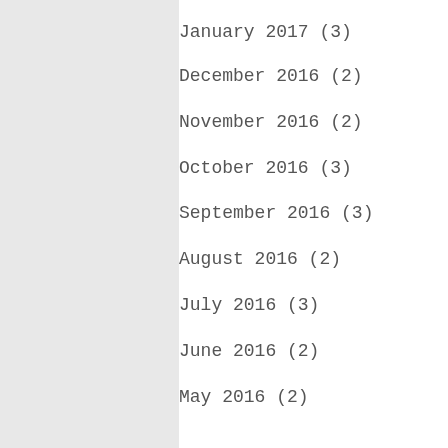January 2017 (3)
December 2016 (2)
November 2016 (2)
October 2016 (3)
September 2016 (3)
August 2016 (2)
July 2016 (3)
June 2016 (2)
May 2016 (2)